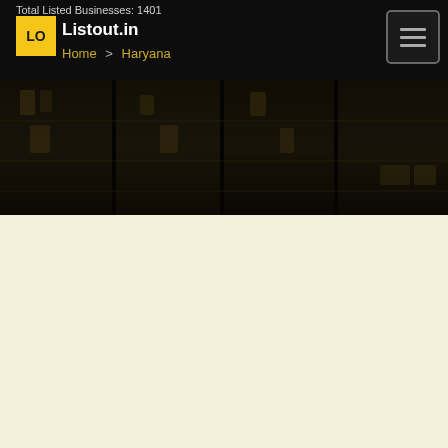Total Listed Businesses: 1401
[Figure (logo): Listout.in logo with yellow LO box and white Listout.in text]
Home > Haryana
[Figure (photo): Dark background photo of a store with shelves and merchandise]